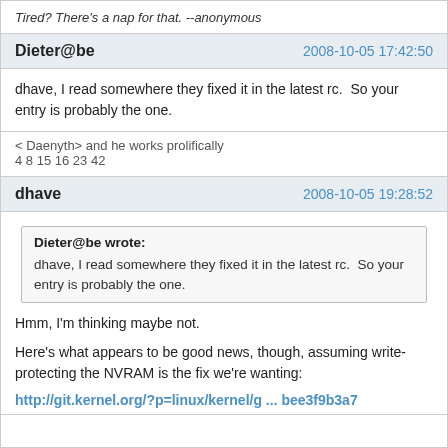Tired? There's a nap for that. --anonymous
Dieter@be   2008-10-05 17:42:50
dhave, I read somewhere they fixed it in the latest rc.  So your entry is probably the one.
< Daenyth> and he works prolifically
4 8 15 16 23 42
dhave   2008-10-05 19:28:52
Dieter@be wrote:
dhave, I read somewhere they fixed it in the latest rc.  So your entry is probably the one.
Hmm, I'm thinking maybe not.
Here's what appears to be good news, though, assuming write-protecting the NVRAM is the fix we're wanting:
http://git.kernel.org/?p=linux/kernel/g ... bee3f9b3a7